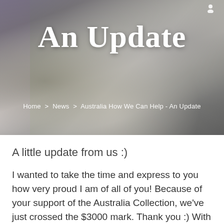[Figure (photo): Hero banner image showing close-up of an animal (appears to be a koala or similar), with blurred fur texture and muted tones, with a purple bar at top and white overlay title text]
An Update
Home > News > Australia How We Can Help - An Update
A little update from us :)
I wanted to take the time and express to you how very proud I am of all of you! Because of your support of the Australia Collection, we've just crossed the $3000 mark. Thank you :) With more than a